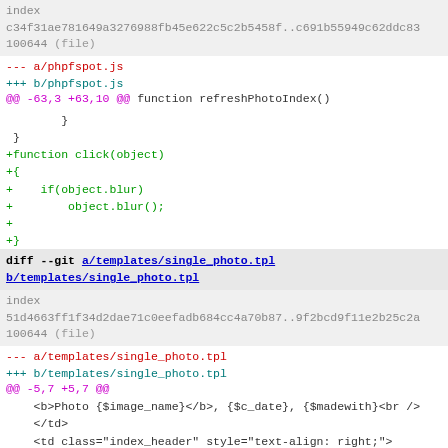index
c34f31ae781649a3276988fb45e622c5c2b5458f..c691b55949c62ddc83
100644 (file)
--- a/phpfspot.js
+++ b/phpfspot.js
@@ -63,3 +63,10 @@ function refreshPhotoIndex()
}
 }
+function click(object)
+{
+    if(object.blur)
+        object.blur();
+
+}
+
diff --git a/templates/single_photo.tpl b/templates/single_photo.tpl
index
51d4663ff1f34d2dae71c0eefadb684cc4a70b87..9f2bcd9f11e2b25c2a
100644 (file)
--- a/templates/single_photo.tpl
+++ b/templates/single_photo.tpl
@@ -5,7 +5,7 @@
<b>Photo {$image_name}</b>, {$c_date}, {$madewith}<br />
    </td>
    <td class="index_header" style="text-align: right;">
-   <a href="{$image_url_full}" target="_blank">
+   <a href="{$image_url_full}" target="_blank" onclick="cli
    <img src="resources/loupe.png" />